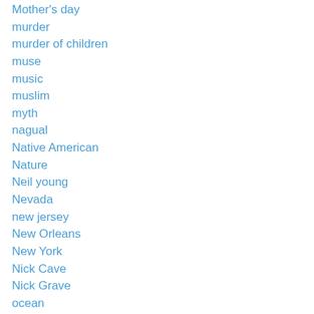Mother's day
murder
murder of children
muse
music
muslim
myth
nagual
Native American
Nature
Neil young
Nevada
new jersey
New Orleans
New York
Nick Cave
Nick Grave
ocean
Odd Jansen
Ojibwa